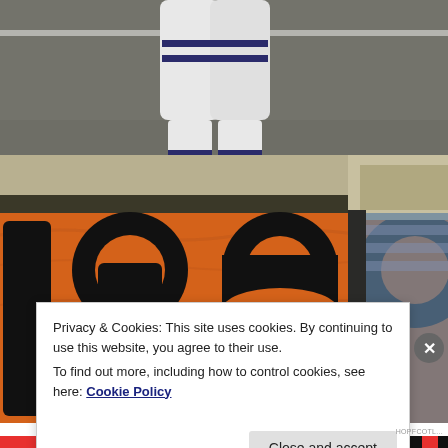[Figure (photo): Top portion: A football player's legs and lower body in white uniform with navy blue stripes, jumping or kicking on a grass field. Bottom portion: An orange banner/flag with large black numbers (appears to show '1988' or similar year) hanging from a structure, with stadium seating visible to the right.]
Privacy & Cookies: This site uses cookies. By continuing to use this website, you agree to their use.
To find out more, including how to control cookies, see here: Cookie Policy
Close and accept
HOPFCOTL...